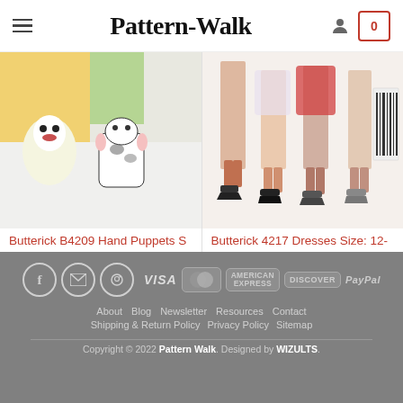Pattern-Walk
[Figure (photo): Product image of Butterick B4209 Hand Puppets sewing pattern showing colorful stuffed animal toys]
Butterick B4209 Hand Puppets S
$5.00
[Figure (photo): Product image of Butterick 4217 Dresses sewing pattern showing women's fashion illustrations with legs and heels]
Butterick 4217 Dresses Size: 12-
$9.50
About  Blog  Newsletter  Resources  Contact  Shipping & Return Policy  Privacy Policy  Sitemap  Copyright © 2022 Pattern Walk. Designed by WIZULTS.